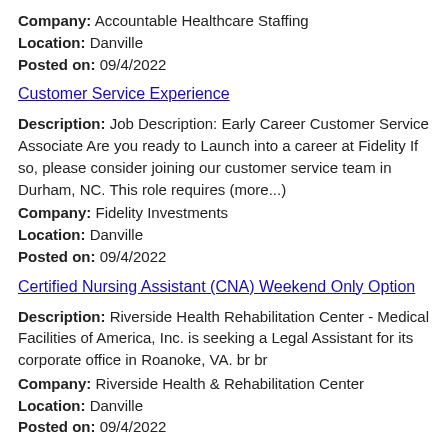Company: Accountable Healthcare Staffing
Location: Danville
Posted on: 09/4/2022
Customer Service Experience
Description: Job Description: Early Career Customer Service Associate Are you ready to Launch into a career at Fidelity If so, please consider joining our customer service team in Durham, NC. This role requires (more...)
Company: Fidelity Investments
Location: Danville
Posted on: 09/4/2022
Certified Nursing Assistant (CNA) Weekend Only Option
Description: Riverside Health Rehabilitation Center - Medical Facilities of America, Inc. is seeking a Legal Assistant for its corporate office in Roanoke, VA. br br
Company: Riverside Health & Rehabilitation Center
Location: Danville
Posted on: 09/4/2022
Salary in Raleigh, North Carolina Area | More details for Raleigh, North Carolina Jobs |Salary